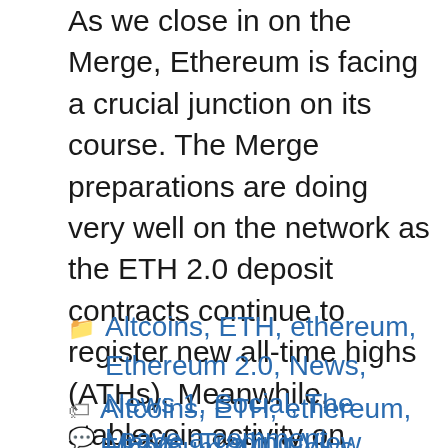As we close in on the Merge, Ethereum is facing a crucial junction on its course. The Merge preparations are doing very well on the network as the ETH 2.0 deposit contracts continue to register new all-time highs (ATHs). Meanwhile, stablecoin activity on Ethereum has been increasing according to a recent tweet by analytic firm … Read more
Categories: Altcoins, ETH, ethereum, Ethereum 2.0, News, News 1, Social, The Merge, Trading View
Tags: Altcoins, ETH, ethereum, Ethereum 2.0, News, News 1, Social, The Merge, Trading View
Leave a comment